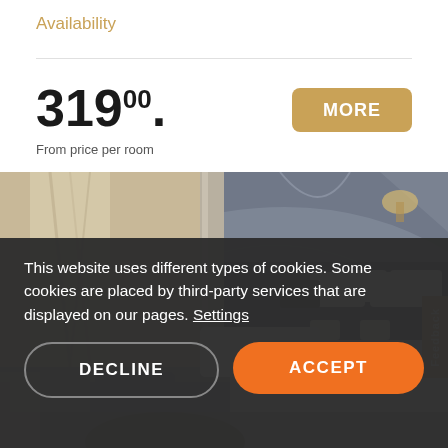Availability
319.00 From price per room
[Figure (photo): Luxury hotel room with marble walls, large bed with white pillows and gray throw, gray sectional sofa in foreground, warm interior lighting]
This website uses different types of cookies. Some cookies are placed by third-party services that are displayed on our pages. Settings
DECLINE
ACCEPT